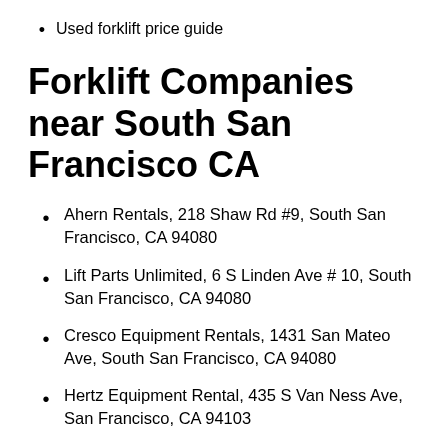Used forklift price guide
Forklift Companies near South San Francisco CA
Ahern Rentals, 218 Shaw Rd #9, South San Francisco, CA 94080
Lift Parts Unlimited, 6 S Linden Ave # 10, South San Francisco, CA 94080
Cresco Equipment Rentals, 1431 San Mateo Ave, South San Francisco, CA 94080
Hertz Equipment Rental, 435 S Van Ness Ave, San Francisco, CA 94103